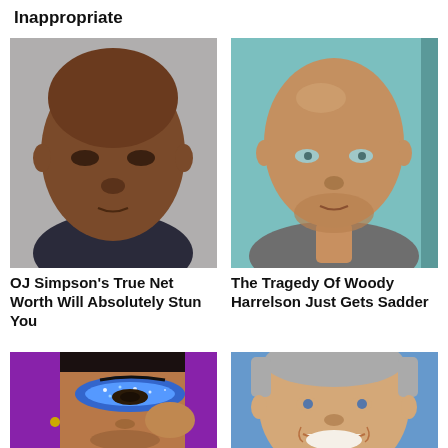Inappropriate
[Figure (photo): Headshot of OJ Simpson, mugshot style, dark background clothing, neutral expression]
[Figure (photo): Headshot of Woody Harrelson, bald, light stubble, teal/turquoise background, slight smile]
OJ Simpson's True Net Worth Will Absolutely Stun You
The Tragedy Of Woody Harrelson Just Gets Sadder
[Figure (photo): Close-up of a man wearing blue glittery eye makeup/eyeshadow, dark hair, earring visible, purple background]
[Figure (photo): Headshot of a smiling middle-aged man with short gray hair, blue background, teeth visible]